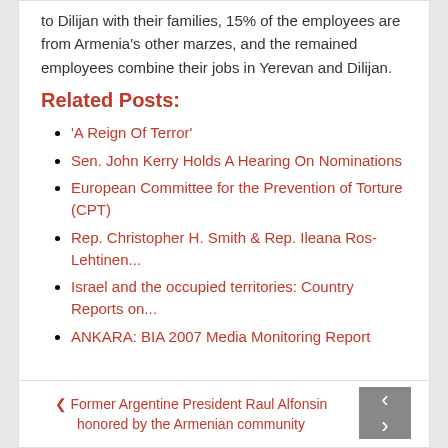to Dilijan with their families, 15% of the employees are from Armenia's other marzes, and the remained employees combine their jobs in Yerevan and Dilijan.
Related Posts:
'A Reign Of Terror'
Sen. John Kerry Holds A Hearing On Nominations
European Committee for the Prevention of Torture (CPT)
Rep. Christopher H. Smith & Rep. Ileana Ros-Lehtinen...
Israel and the occupied territories: Country Reports on...
ANKARA: BIA 2007 Media Monitoring Report
< Former Argentine President Raul Alfonsin honored by the Armenian community